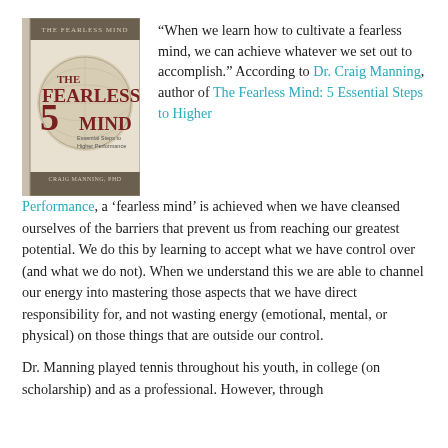[Figure (illustration): Book cover of 'The Fearless Mind: 5 Essential Steps to Higher Performance' by Craig Manning, PhD]
“When we learn how to cultivate a fearless mind, we can achieve whatever we set out to accomplish.” According to Dr. Craig Manning, author of The Fearless Mind: 5 Essential Steps to Higher Performance, a ‘fearless mind’ is achieved when we have cleansed ourselves of the barriers that prevent us from reaching our greatest potential. We do this by learning to accept what we have control over (and what we do not). When we understand this we are able to channel our energy into mastering those aspects that we have direct responsibility for, and not wasting energy (emotional, mental, or physical) on those things that are outside our control.
Dr. Manning played tennis throughout his youth, in college (on scholarship) and as a professional. However, through